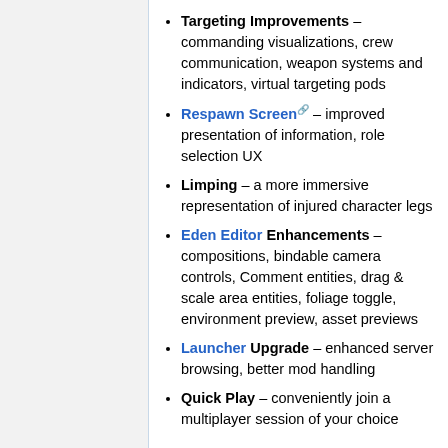streamlining
Targeting Improvements – commanding visualizations, crew communication, weapon systems and indicators, virtual targeting pods
Respawn Screen – improved presentation of information, role selection UX
Limping – a more immersive representation of injured character legs
Eden Editor Enhancements – compositions, bindable camera controls, Comment entities, drag & scale area entities, foliage toggle, environment preview, asset previews
Launcher Upgrade – enhanced server browsing, better mod handling
Quick Play – conveniently join a multiplayer session of your choice